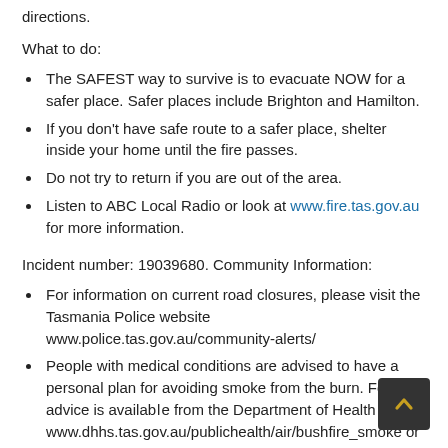directions.
What to do:
The SAFEST way to survive is to evacuate NOW for a safer place. Safer places include Brighton and Hamilton.
If you don't have safe route to a safer place, shelter inside your home until the fire passes.
Do not try to return if you are out of the area.
Listen to ABC Local Radio or look at www.fire.tas.gov.au for more information.
Incident number: 19039680. Community Information:
For information on current road closures, please visit the Tasmania Police website www.police.tas.gov.au/community-alerts/
People with medical conditions are advised to have a personal plan for avoiding smoke from the burn. For advice is availa... from the Department of Health www.dhhs.tas.gov.au/publichealth/air/bushfire_smoke or